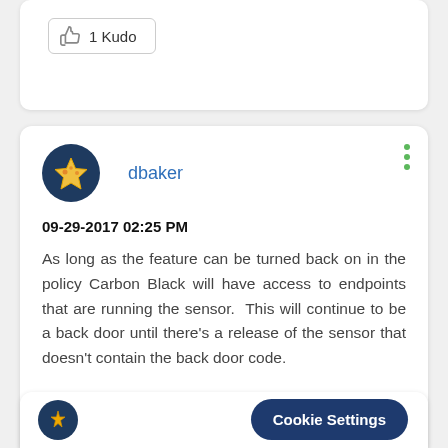[Figure (other): Thumbs up icon with '1 Kudo' button inside a rounded border]
dbaker
09-29-2017 02:25 PM
As long as the feature can be turned back on in the policy Carbon Black will have access to endpoints that are running the sensor.  This will continue to be a back door until there's a release of the sensor that doesn't contain the back door code.
Cookie Settings